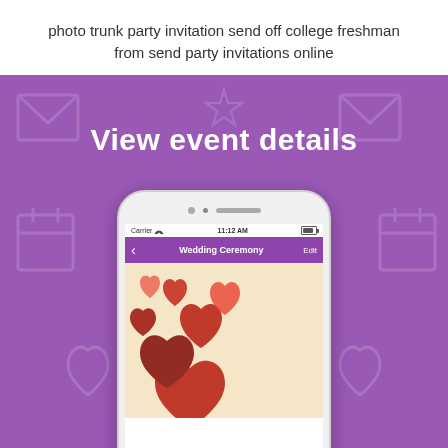photo trunk party invitation send off college freshman from send party invitations online
[Figure (screenshot): App screenshot on a purple background showing a smartphone mockup with 'View event details' text. The phone screen shows a Wedding Ceremony event with a heart-themed invitation card design. Status bar shows 'Carrier', wifi icon, '11:12 AM', and battery. Navigation bar shows back arrow, 'Wedding Ceremony' title, and 'Edit' button.]